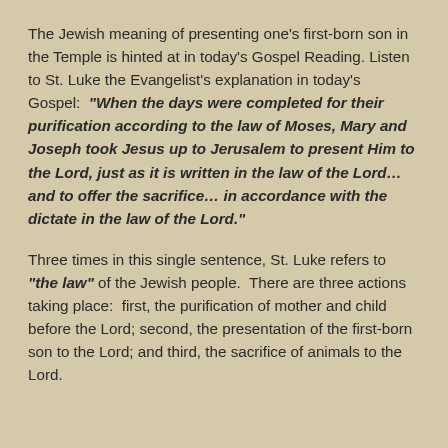The Jewish meaning of presenting one's first-born son in the Temple is hinted at in today's Gospel Reading. Listen to St. Luke the Evangelist's explanation in today's Gospel:  "When the days were completed for their purification according to the law of Moses, Mary and Joseph took Jesus up to Jerusalem to present Him to the Lord, just as it is written in the law of the Lord… and to offer the sacrifice… in accordance with the dictate in the law of the Lord."
Three times in this single sentence, St. Luke refers to "the law" of the Jewish people.  There are three actions taking place:  first, the purification of mother and child before the Lord; second, the presentation of the first-born son to the Lord; and third, the sacrifice of animals to the Lord.